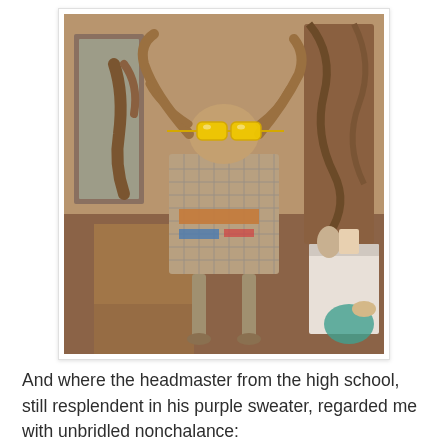[Figure (photo): A quirky assemblage sculpture or display resembling a humanoid figure made from driftwood, wire mesh baskets, and found objects. The figure wears oversized yellow sunglasses. It stands in what appears to be a shop or gallery, surrounded by other wooden sculptures and objects on shelves and a white table.]
And where the headmaster from the high school, still resplendent in his purple sweater, regarded me with unbridled nonchalance: